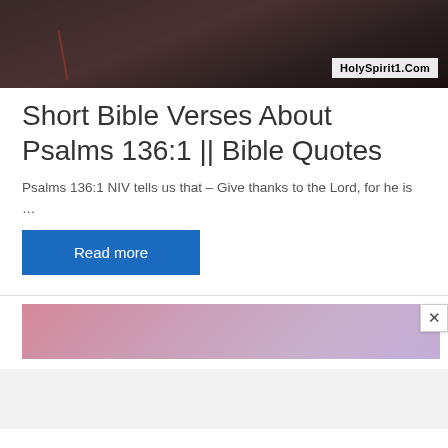[Figure (photo): Dark moody background image, dark reddish-brown tones, with HolySpirit1.Com watermark in bottom right corner]
Short Bible Verses About Psalms 136:1 || Bible Quotes
Psalms 136:1 NIV tells us that – Give thanks to the Lord, for he is …
Read more
[Figure (photo): Pink/purple gradient advertisement banner with a close (×) button in top right]